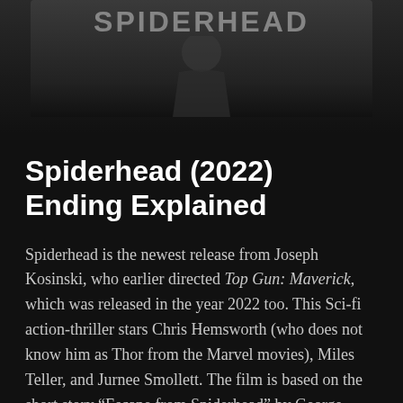[Figure (photo): Top portion of a movie poster or promotional image for 'Spiderhead', showing the title text partially visible at the top and a dark silhouetted figure below, fading into a black background.]
Spiderhead (2022) Ending Explained
Spiderhead is the newest release from Joseph Kosinski, who earlier directed Top Gun: Maverick, which was released in the year 2022 too. This Sci-fi action-thriller stars Chris Hemsworth (who does not know him as Thor from the Marvel movies), Miles Teller, and Jurnee Smollett. The film is based on the short story “Escape from Spiderhead” by George